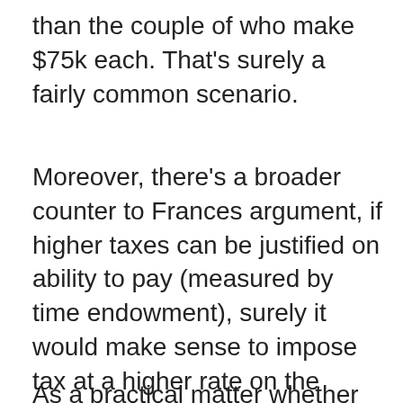than the couple of who make $75k each. That's surely a fairly common scenario.
Moreover, there's a broader counter to Frances argument, if higher taxes can be justified on ability to pay (measured by time endowment), surely it would make sense to impose tax at a higher rate on the person who works part time and makes $30K a year than on the person who works full time for the same income. Can we tax endowment or does that open-up a whole can of worms?
As a practical matter whether